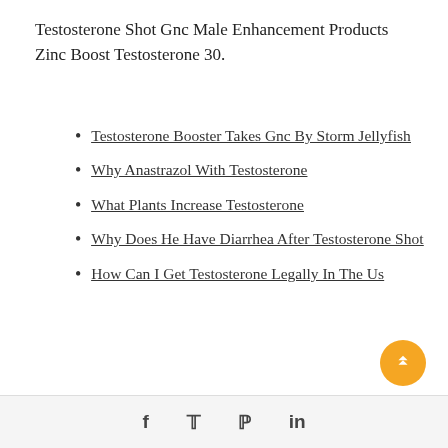Testosterone Shot Gnc Male Enhancement Products Zinc Boost Testosterone 30.
Testosterone Booster Takes Gnc By Storm Jellyfish
Why Anastrazol With Testosterone
What Plants Increase Testosterone
Why Does He Have Diarrhea After Testosterone Shot
How Can I Get Testosterone Legally In The Us
f  t  p  in